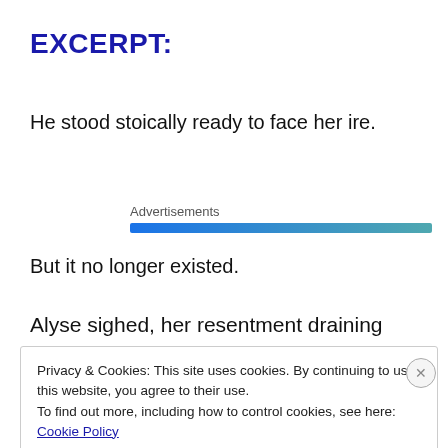EXCERPT:
He stood stoically ready to face her ire.
Advertisements
But it no longer existed.
Alyse sighed, her resentment draining away. “Nay, good
Privacy & Cookies: This site uses cookies. By continuing to use this website, you agree to their use.
To find out more, including how to control cookies, see here: Cookie Policy